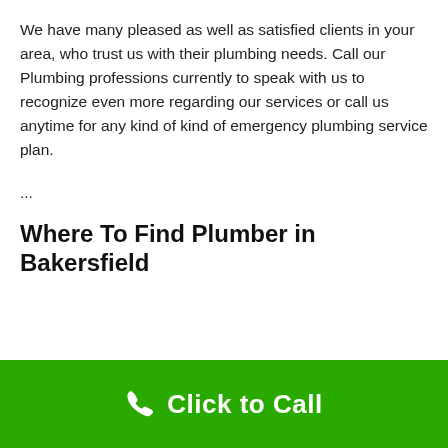We have many pleased as well as satisfied clients in your area, who trust us with their plumbing needs. Call our Plumbing professions currently to speak with us to recognize even more regarding our services or call us anytime for any kind of kind of emergency plumbing service plan.
...
Where To Find Plumber in Bakersfield
[Figure (other): Green call-to-action bar at bottom with phone icon and 'Click to Call' text]